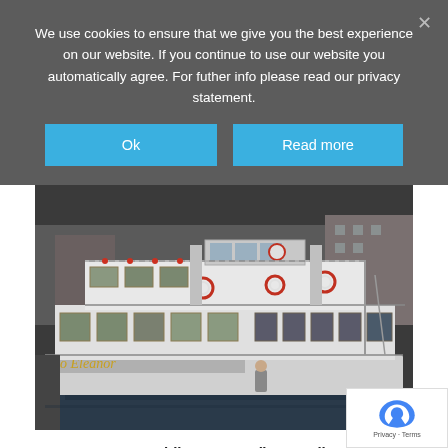We use cookies to ensure that we give you the best experience on our website. If you continue to use our website you automatically agree. For futher info please read our privacy statement.
[Figure (photo): Photograph of a large white multi-deck paddle steamer boat moored at a dock, with gold lettering on the side, multiple life rings, and decorative lights. People visible on deck. Background shows brick buildings.]
1920s Paddle Steamer (keen sellers)
Kept in its original style and beautifully maintained paddle ste... suitable for catering up to 600 passengers for day (or romantic...